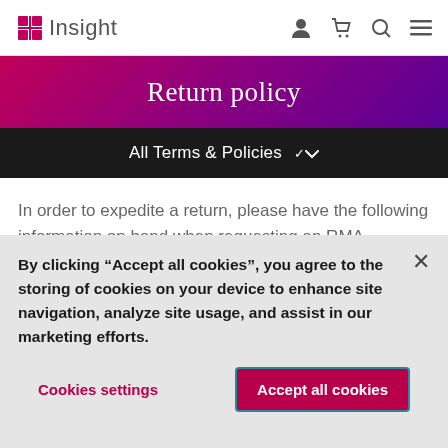Insight
Return policy
All Terms & Policies
In order to expedite a return, please have the following information on hand when requesting an RMA number: Client Account Number, Invoice Number, Serial Number (if applicable), the nature of
By clicking “Accept all cookies”, you agree to the storing of cookies on your device to enhance site navigation, analyze site usage, and assist in our marketing efforts.
Cookies settings
Accept all cookies